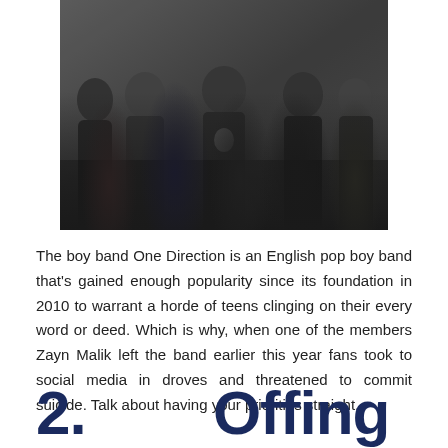[Figure (photo): Group photo of five young men, members of boy band One Direction, wearing dark clothing against a light background]
The boy band One Direction is an English pop boy band that's gained enough popularity since its foundation in 2010 to warrant a horde of teens clinging on their every word or deed. Which is why, when one of the members Zayn Malik left the band earlier this year fans took to social media in droves and threatened to commit suicide. Talk about having your priorities straight.
2.  Offing  someone else. Also. NOT Ok